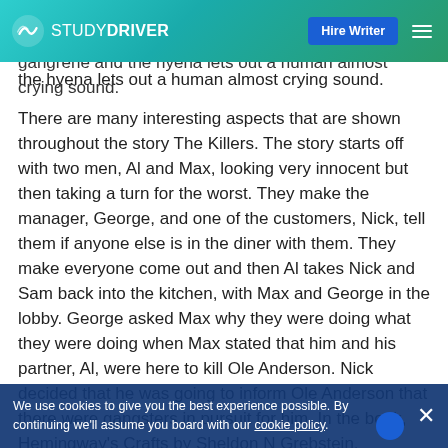STUDYDRIVER — Hire Writer
both symbolize self-deterioration and death. At the very end of the story, Harry passes away from the gangrene and the hyena lets out a human almost crying sound.
There are many interesting aspects that are shown throughout the story The Killers. The story starts off with two men, Al and Max, looking very innocent but then taking a turn for the worst. They make the manager, George, and one of the customers, Nick, tell them if anyone else is in the diner with them. They make everyone come out and then Al takes Nick and Sam back into the kitchen, with Max and George in the lobby. George asked Max why they were doing what they were doing when Max stated that him and his partner, Al, were here to kill Ole Anderson. Nick decided that he was going to inform Ole Anderson that there were gangsters in pursuit for him. In the book, Hemingway's Crafts by Sheldon N Grebstein, Grebstein states that Neither Ole Anderson nor William Campbell can outrun their past any longer.
We use cookies to give you the best experience possible. By continuing we'll assume you board with our cookie policy.